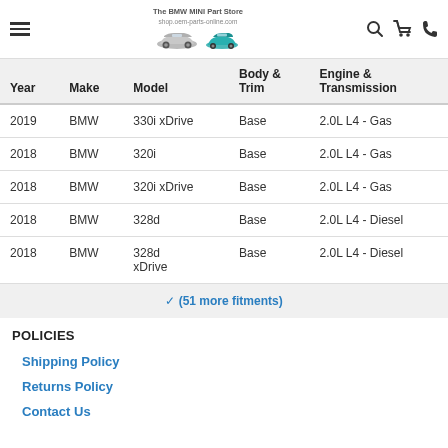The BMW MINI Part Store navigation header with hamburger menu, logo with cars, search, cart, and phone icons
| Year | Make | Model | Body & Trim | Engine & Transmission |
| --- | --- | --- | --- | --- |
| 2019 | BMW | 330i xDrive | Base | 2.0L L4 - Gas |
| 2018 | BMW | 320i | Base | 2.0L L4 - Gas |
| 2018 | BMW | 320i xDrive | Base | 2.0L L4 - Gas |
| 2018 | BMW | 328d | Base | 2.0L L4 - Diesel |
| 2018 | BMW | 328d xDrive | Base | 2.0L L4 - Diesel |
✓ (51 more fitments)
POLICIES
Shipping Policy
Returns Policy
Contact Us